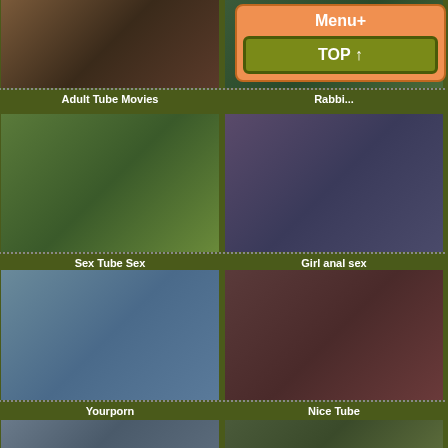[Figure (photo): Thumbnail grid of video links with labels]
Adult Tube Movies
Rabbit (partial, obscured by menu)
Sex Tube Sex
Girl anal sex
Yourporn
Nice Tube
(unlabeled)
(unlabeled)
Menu+
TOP ⇑